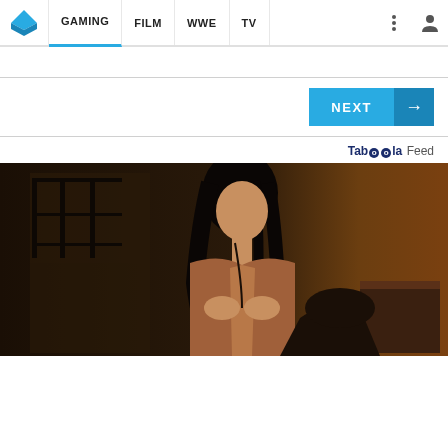GAMING | FILM | WWE | TV
NEXT →
Taboola Feed
[Figure (photo): A woman with long dark hair leaning forward in a dimly lit room, wearing an open blouse, with another person partially visible in the foreground. Background shows shelves and warm orange-toned walls.]